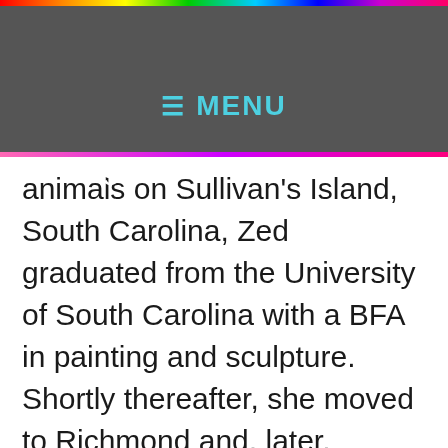≡ MENU
working methods in a variety of media. Born in Charleston and raised among farm animals on Sullivan's Island, South Carolina, Zed graduated from the University of South Carolina with a BFA in painting and sculpture. Shortly thereafter, she moved to Richmond and, later, Gordonsville, Virginia, where she lives and works today.
Zed's studio practice is eclectic and varied. Often starting with images from her sketchbook, she may develop some of these concepts into paintings and others into sculptural tableaux or installations. Her